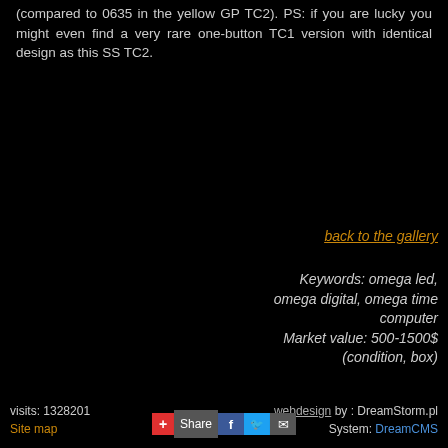(compared to 0635 in the yellow GP TC2). PS: if you are lucky you might even find a very rare one-button TC1 version with identical design as this SS TC2.
back to the gallery
Keywords: omega led, omega digital, omega time computer
Market value: 500-1500$
(condition, box)
visits: 1328201
Site map
webdesign by : DreamStorm.pl
System: DreamCMS